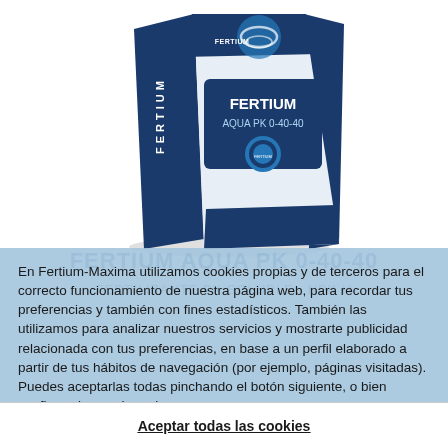[Figure (photo): Product bag of FERTIUM AQUA PK 0-40-40 fertilizer — white and dark blue bag with circular logo and product label]
FERTIUM AQUA PK 0-40-40
En Fertium-Maxima utilizamos cookies propias y de terceros para el correcto funcionamiento de nuestra página web, para recordar tus preferencias y también con fines estadísticos. También las utilizamos para analizar nuestros servicios y mostrarte publicidad relacionada con tus preferencias, en base a un perfil elaborado a partir de tus hábitos de navegación (por ejemplo, páginas visitadas). Puedes aceptarlas todas pinchando el botón siguiente, o bien configurarlas, rechazarlas u obtener más información aquí
Aceptar todas las cookies